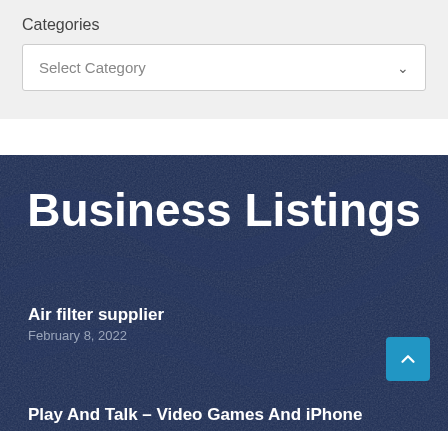Categories
Select Category
Business Listings
Air filter supplier
February 8, 2022
Play And Talk – Video Games And iPhone